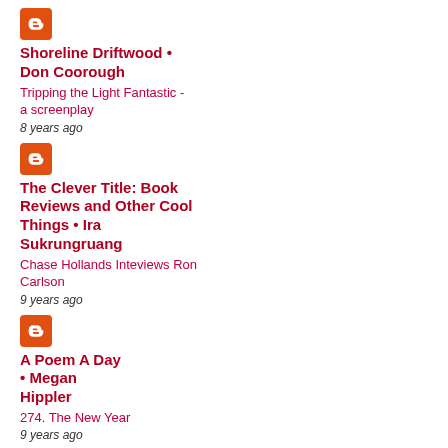[Figure (logo): Blogger orange icon]
Shoreline Driftwood • Don Coorough
Tripping the Light Fantastic - a screenplay
8 years ago
[Figure (logo): Blogger orange icon]
The Clever Title: Book Reviews and Other Cool Things • Ira Sukrungruang
Chase Hollands Inteviews Ron Carlson
9 years ago
[Figure (logo): Blogger orange icon]
A Poem A Day • Megan Hippler
274. The New Year
9 years ago
[Figure (logo): Blogger orange icon (partial)]